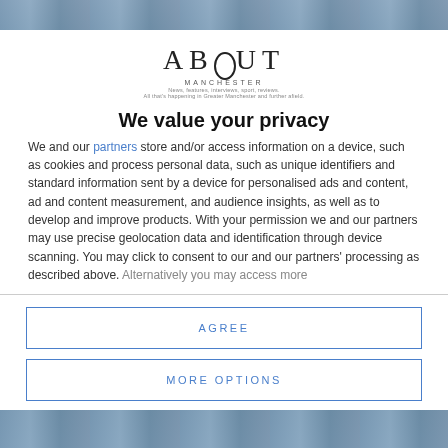[Figure (photo): Blurred photo strip at top of page behind modal overlay]
[Figure (logo): About Manchester logo with tagline: 'News, features, interviews, sport, reviews. All that's happening in Greater Manchester and further afield.']
We value your privacy
We and our partners store and/or access information on a device, such as cookies and process personal data, such as unique identifiers and standard information sent by a device for personalised ads and content, ad and content measurement, and audience insights, as well as to develop and improve products. With your permission we and our partners may use precise geolocation data and identification through device scanning. You may click to consent to our and our partners' processing as described above. Alternatively you may access more
AGREE
MORE OPTIONS
[Figure (photo): Blurred photo strip at bottom of page behind modal overlay]